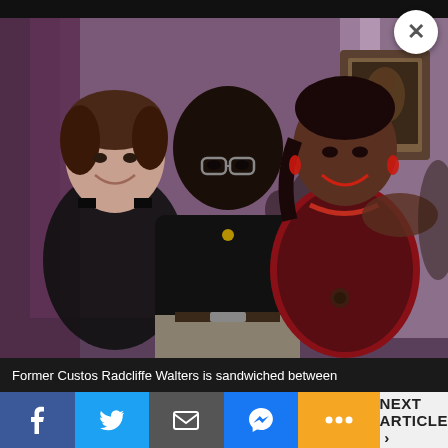[Figure (photo): Three people posing together at what appears to be a formal evening event. On the left, a woman with dark hair pulled back wearing a black sleeveless dress. In the center, an elderly man wearing glasses and a black shirt. On the right, a woman wearing a red and black lace dress with red earrings and necklace. The background shows a restaurant or ballroom interior with curtains.]
Former Custos Radcliffe Walters is sandwiched between
Facebook | Twitter | Mail | Messenger | More | NEXT ARTICLE >